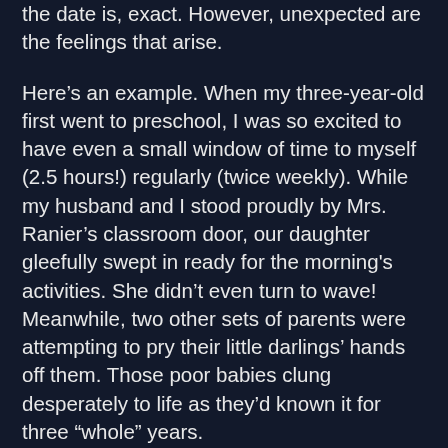the date is, exact. However, unexpected are the feelings that arise.
Here’s an example. When my three-year-old first went to preschool, I was so excited to have even a small window of time to myself (2.5 hours!) regularly (twice weekly). While my husband and I stood proudly by Mrs. Ranier’s classroom door, our daughter gleefully swept in ready for the morning's activities. She didn’t even turn to wave! Meanwhile, two other sets of parents were attempting to pry their little darlings’ hands off them. Those poor babies clung desperately to life as they’d known it for three “whole” years.
Bet you’re trying to figure out if I’m referring to the parents or the toddlers? Well, according to child psychologists, either and/or both!